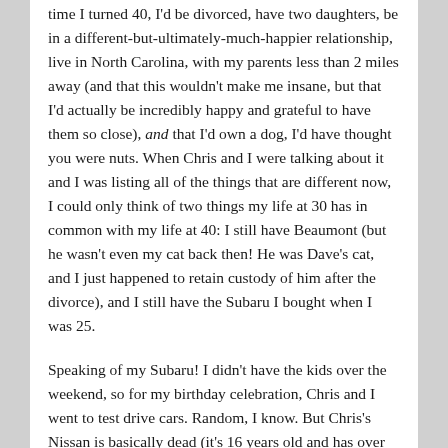time I turned 40, I'd be divorced, have two daughters, be in a different-but-ultimately-much-happier relationship, live in North Carolina, with my parents less than 2 miles away (and that this wouldn't make me insane, but that I'd actually be incredibly happy and grateful to have them so close), and that I'd own a dog, I'd have thought you were nuts. When Chris and I were talking about it and I was listing all of the things that are different now, I could only think of two things my life at 30 has in common with my life at 40: I still have Beaumont (but he wasn't even my cat back then! He was Dave's cat, and I just happened to retain custody of him after the divorce), and I still have the Subaru I bought when I was 25.
Speaking of my Subaru! I didn't have the kids over the weekend, so for my birthday celebration, Chris and I went to test drive cars. Random, I know. But Chris's Nissan is basically dead (it's 16 years old and has over 300K miles; it needs repairs that cost double what the car is worth), and I've been wanting a bigger car with third row seating for a long time now. Since I'm in a better position to take on a car payment than he is, we decided that he'll pay me